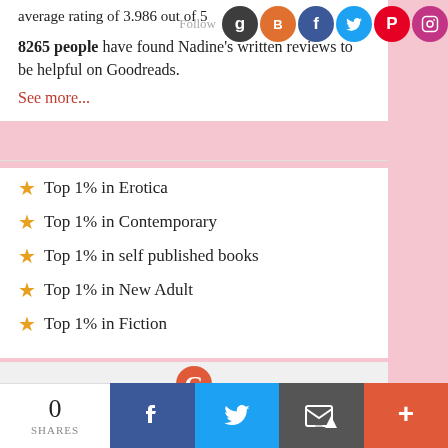average rating of 3.986 out of 5
8265 people have found Nadine's written reviews to be helpful on Goodreads.
See more...
Top 1% in Erotica
Top 1% in Contemporary
Top 1% in self published books
Top 1% in New Adult
Top 1% in Fiction
[Figure (logo): Goodreads logo icon in salmon/coral color]
Goodreads Reviewer
0 SHARES
[Figure (infographic): Share bar with Facebook, Twitter, email, and plus buttons]